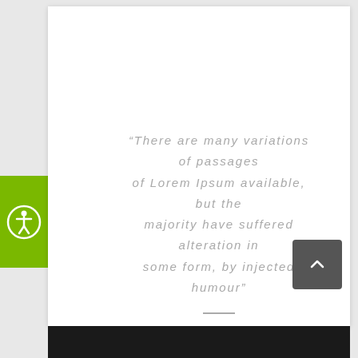[Figure (other): Green square with white accessibility person-in-circle icon]
“There are many variations of passages of Lorem Ipsum available, but the majority have suffered alteration in some form, by injected humour”
EMERY BURNS, Science Student